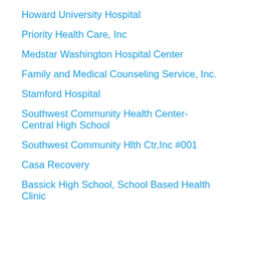Howard University Hospital
Priority Health Care, Inc
Medstar Washington Hospital Center
Family and Medical Counseling Service, Inc.
Stamford Hospital
Southwest Community Health Center- Central High School
Southwest Community Hlth Ctr,Inc #001
Casa Recovery
Bassick High School, School Based Health Clinic